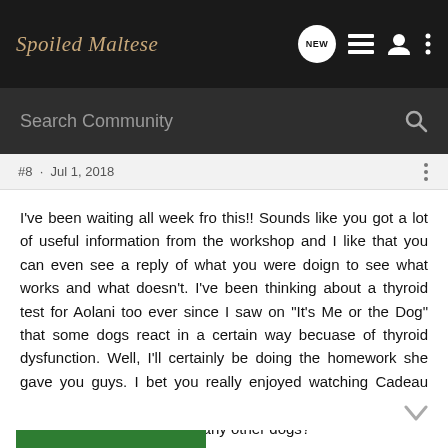Spoiled Maltese
Search Community
#8 · Jul 1, 2018
I've been waiting all week fro this!! Sounds like you got a lot of useful information from the workshop and I like that you can even see a reply of what you were doign to see what works and what doesn't. I've been thinking about a thyroid test for Aolani too ever since I saw on "It's Me or the Dog" that some dogs react in a certain way becuase of thyroid dysfunction. Well, I'll certainly be doing the homework she gave you guys. I bet you really enjoyed watching Cadeau enjoy himself out in the farm. I love watching pups run free in nature. Did he interact with any other dogs?